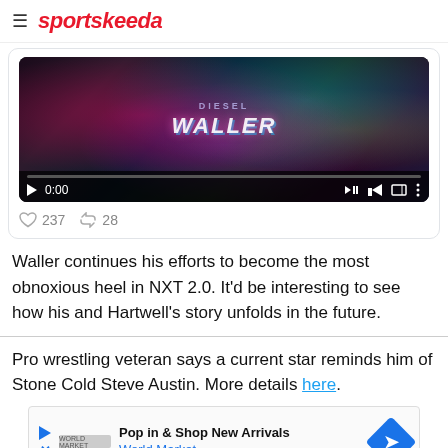sportskeeda
[Figure (screenshot): Embedded video player showing a wrestling-themed glitch graphic with text 'DIESEL WALLER', video at 0:00 timestamp, with playback controls at bottom]
237  28
Waller continues his efforts to become the most obnoxious heel in NXT 2.0. It'd be interesting to see how his and Hartwell's story unfolds in the future.
Pro wrestling veteran says a current star reminds him of Stone Cold Steve Austin. More details here.
[Figure (screenshot): Advertisement banner for World Market: 'Pop in & Shop New Arrivals / World Market' with play button icon, company logo, and blue diamond navigation icon]